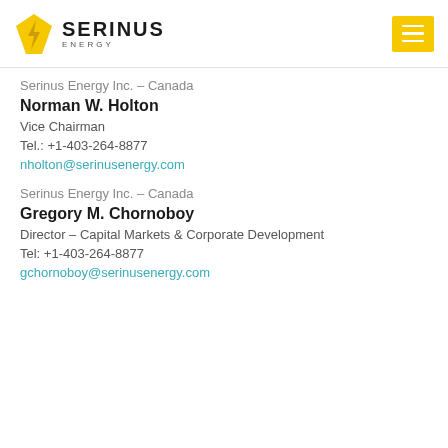Serinus Energy
Serinus Energy Inc. – Canada
Norman W. Holton
Vice Chairman
Tel.: +1-403-264-8877
nholton@serinusenergy.com
Serinus Energy Inc. – Canada
Gregory M. Chornoboy
Director – Capital Markets & Corporate Development
Tel: +1-403-264-8877
gchornoboy@serinusenergy.com